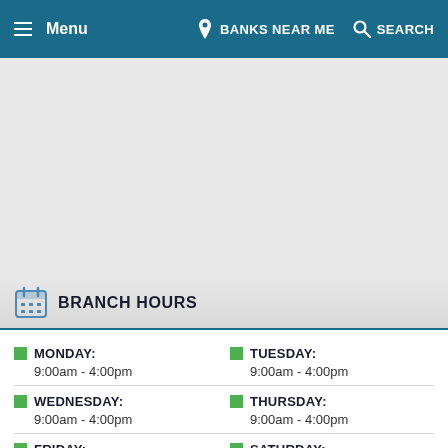Menu | BANKS NEAR ME | SEARCH
[Figure (map): Map area showing bank branch location]
BRANCH HOURS
| Day | Hours |
| --- | --- |
| MONDAY: | 9:00am - 4:00pm |
| TUESDAY: | 9:00am - 4:00pm |
| WEDNESDAY: | 9:00am - 4:00pm |
| THURSDAY: | 9:00am - 4:00pm |
| FRIDAY: | 9:00am - 6:00pm |
| SATURDAY: | 9:00am - 1:00pm |